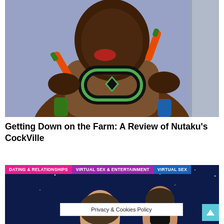[Figure (illustration): Anime/cartoon style illustration of a dark-skinned male character eating or licking a carrot, wearing green-trimmed black headphones around his neck, holding carrots in both hands, purple and blue background.]
Getting Down on the Farm: A Review of Nutaku’s CockVille
[Figure (illustration): Bottom portion of a webpage showing a dark blue starry background with anime-style male characters. Tag labels visible: DATING & RELATIONSHIPS, VIRTUAL SEX & ENTERTAINMENT, VIRTUAL SEX. A Privacy & Cookies Policy banner and a cyan scroll-to-top button are overlaid.]